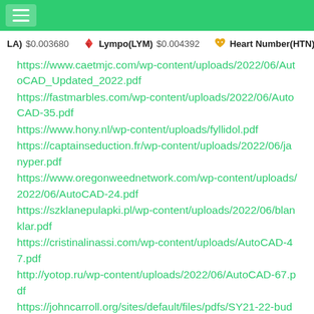Header bar with hamburger menu
(LA) $0.003680  Lympo(LYM) $0.004392  Heart Number(HTN)
https://www.caetmjc.com/wp-content/uploads/2022/06/AutoCAD_Updated_2022.pdf
https://fastmarbles.com/wp-content/uploads/2022/06/AutoCAD-35.pdf
https://www.hony.nl/wp-content/uploads/fyllidol.pdf
https://captainseduction.fr/wp-content/uploads/2022/06/janyper.pdf
https://www.oregonweednetwork.com/wp-content/uploads/2022/06/AutoCAD-24.pdf
https://szklanepulapki.pl/wp-content/uploads/2022/06/blanklar.pdf
https://cristinalinassi.com/wp-content/uploads/AutoCAD-47.pdf
http://yotop.ru/wp-content/uploads/2022/06/AutoCAD-67.pdf
https://johncarroll.org/sites/default/files/pdfs/SY21-22-budget-Report-3-16-22.pdf